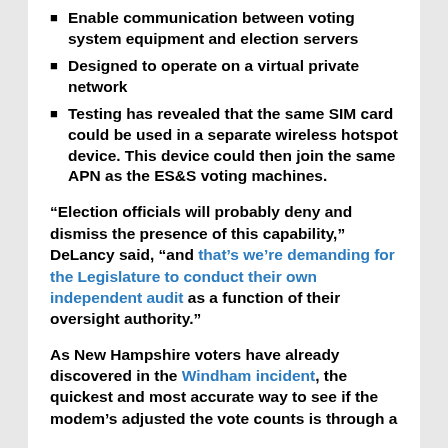Enable communication between voting system equipment and election servers
Designed to operate on a virtual private network
Testing has revealed that the same SIM card could be used in a separate wireless hotspot device. This device could then join the same APN as the ES&S voting machines.
“Election officials will probably deny and dismiss the presence of this capability,” DeLancy said, “and that’s we’re demanding for the Legislature to conduct their own independent audit as a function of their oversight authority.”
As New Hampshire voters have already discovered in the Windham incident, the quickest and most accurate way to see if the modem’s adjusted the vote counts is through a